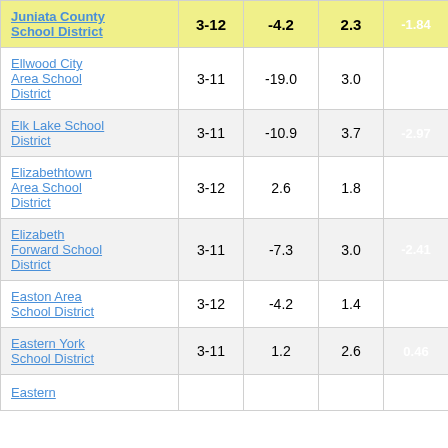| District | Grades | Col3 | Col4 | Score |
| --- | --- | --- | --- | --- |
| Juniata County School District | 3-12 | -4.2 | 2.3 | -1.84 |
| Ellwood City Area School District | 3-11 | -19.0 | 3.0 | -6.27 |
| Elk Lake School District | 3-11 | -10.9 | 3.7 | -2.97 |
| Elizabethtown Area School District | 3-12 | 2.6 | 1.8 | 1.44 |
| Elizabeth Forward School District | 3-11 | -7.3 | 3.0 | -2.41 |
| Easton Area School District | 3-12 | -4.2 | 1.4 | -2.90 |
| Eastern York School District | 3-11 | 1.2 | 2.6 | 0.46 |
| Eastern |  |  |  |  |